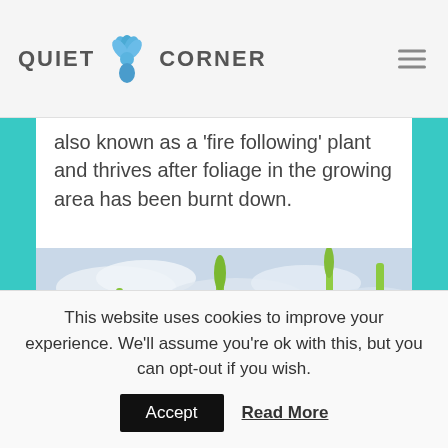QUIET CORNER
also known as a ‘fire following’ plant and thrives after foliage in the growing area has been burnt down.
[Figure (photo): Field of tall green plants with blue-purple flowers, mountains and cloudy sky in background]
This website uses cookies to improve your experience. We'll assume you're ok with this, but you can opt-out if you wish.
Accept   Read More